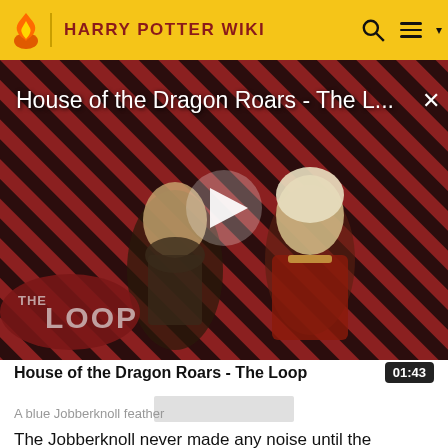HARRY POTTER WIKI
[Figure (screenshot): Video thumbnail for 'House of the Dragon Roars - The Loop' showing two characters from a TV show against a red and black diagonal stripe background, with a play button in the center and 'THE LOOP' branding at bottom left. Title text overlay at top reads 'House of the Dragon Roars - The L...' with a close button (x) in top right.]
House of the Dragon Roars - The Loop
A blue Jobberknoll feather
The Jobberknoll never made any noise until the moment